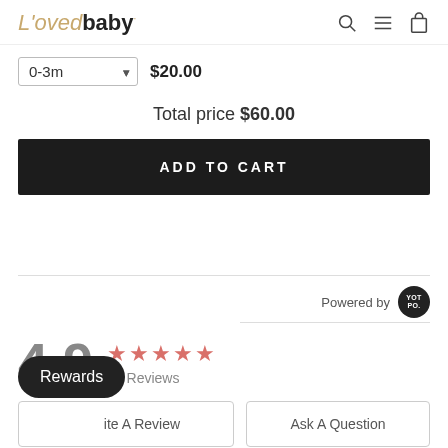L'ovedbaby — navigation header with search, menu, and cart icons
0-3m  $20.00
Total price $60.00
ADD TO CART
Powered by YOTPO
4.9  ★★★★★  27 Reviews
Rewards
Write A Review
Ask A Question